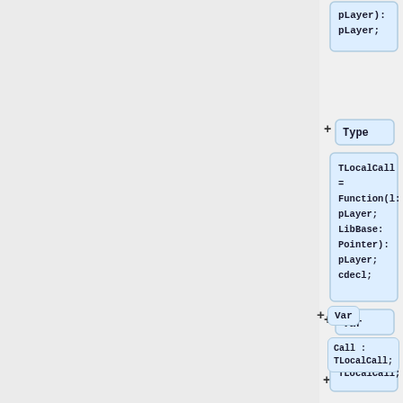[Figure (screenshot): Code tree/outline view showing Pascal-like code structure with collapsible blocks. Shows blocks: pLayer; (top, truncated), Type block with TLocalCall = Function(l: pLayer; LibBase: Pointer): pLayer; cdecl;, Var block with Call : TLocalCall;, Begin block, and Call := TLocalCall(G... (truncated at bottom). Each keyword section has a + expand icon.]
pLayer):
pLayer;
Type
TLocalCall
=
Function(l:
pLayer;
LibBase:
Pointer):
pLayer;
cdecl;
Var
Call :
TLocalCall;
Begin
Call :=
TLocalCall(G